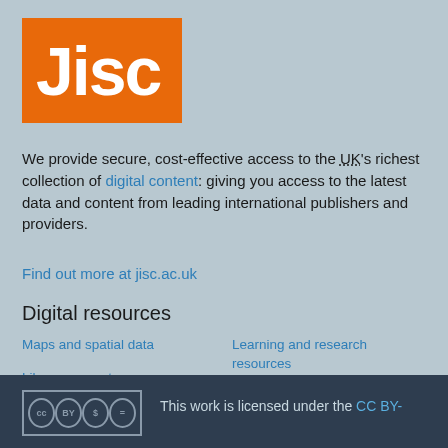[Figure (logo): Jisc logo — white bold 'Jisc' text on orange background]
We provide secure, cost-effective access to the UK's richest collection of digital content: giving you access to the latest data and content from leading international publishers and providers.
Find out more at jisc.ac.uk
Digital resources
Maps and spatial data
Learning and research resources
Library support
Open access (OA)
This work is licensed under the CC BY-